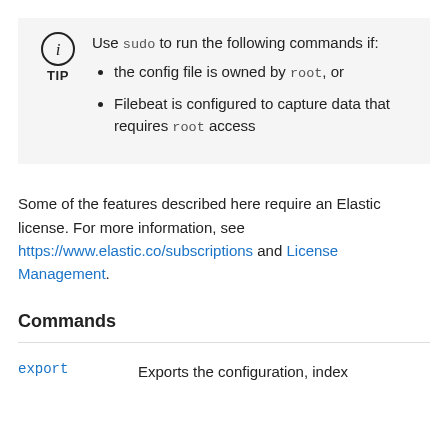Use sudo to run the following commands if: • the config file is owned by root, or • Filebeat is configured to capture data that requires root access
Some of the features described here require an Elastic license. For more information, see https://www.elastic.co/subscriptions and License Management.
Commands
| Command | Description |
| --- | --- |
| export | Exports the configuration, index |